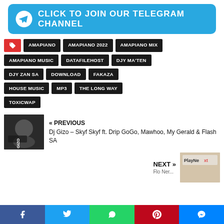[Figure (infographic): Click to join our Telegram channel banner in blue with Telegram logo icon]
AMAPIANO
AMAPIANO 2022
AMAPIANO MIX
AMAPIANO MUSIC
DATAFILEHOST
DJY MA'TEN
DJY ZAN SA
DOWNLOAD
FAKAZA
HOUSE MUSIC
MP3
THE LONG WAY
TOXICWAP
« PREVIOUS
Dj Gizo – Skyf Skyf ft. Drip GoGo, Mawhoo, My Gerald & Flash SA
NEXT »
Social share bar: Facebook, Twitter, WhatsApp, Pinterest, Messenger